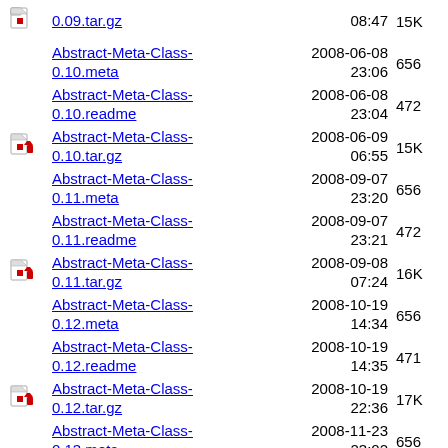0.09.tar.gz | 08:47 | 15K
Abstract-Meta-Class-0.10.meta | 2008-06-08 23:06 | 656
Abstract-Meta-Class-0.10.readme | 2008-06-08 23:04 | 472
Abstract-Meta-Class-0.10.tar.gz | 2008-06-09 06:55 | 15K
Abstract-Meta-Class-0.11.meta | 2008-09-07 23:20 | 656
Abstract-Meta-Class-0.11.readme | 2008-09-07 23:21 | 472
Abstract-Meta-Class-0.11.tar.gz | 2008-09-08 07:24 | 16K
Abstract-Meta-Class-0.12.meta | 2008-10-19 14:34 | 656
Abstract-Meta-Class-0.12.readme | 2008-10-19 14:35 | 471
Abstract-Meta-Class-0.12.tar.gz | 2008-10-19 22:36 | 17K
Abstract-Meta-Class-0.13.meta | 2008-11-23 23:02 | 656
Abstract-Meta-Class-0.13.readme | 2008-11-23 23:02 | 471